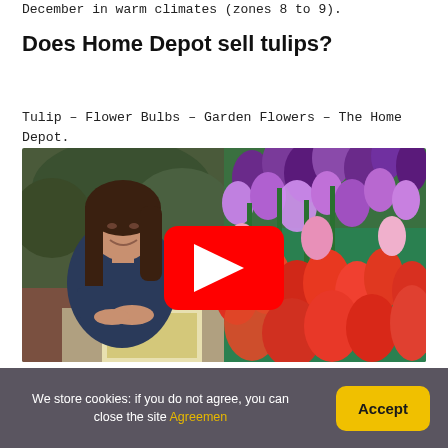December in warm climates (zones 8 to 9).
Does Home Depot sell tulips?
Tulip – Flower Bulbs – Garden Flowers – The Home Depot.
[Figure (photo): YouTube video thumbnail showing a woman sitting at a table with gardening magazines on the left half, and colorful purple and orange/pink tulips on the right half, with a red YouTube play button overlay in the center.]
We store cookies: if you do not agree, you can close the site Agreemen